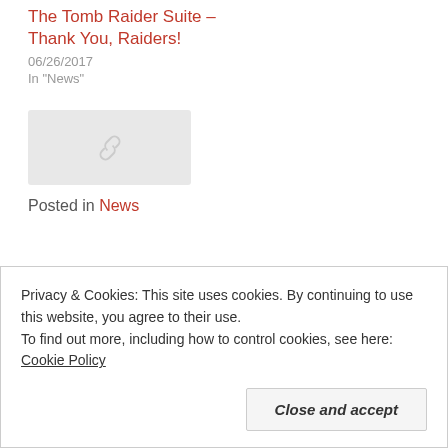The Tomb Raider Suite – Thank You, Raiders!
06/26/2017
In "News"
[Figure (other): Small image placeholder with a link icon]
Posted in News
Privacy & Cookies: This site uses cookies. By continuing to use this website, you agree to their use.
To find out more, including how to control cookies, see here: Cookie Policy
Close and accept